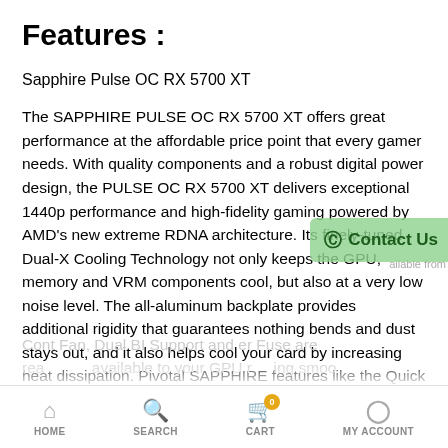Features :
Sapphire Pulse OC RX 5700 XT
The SAPPHIRE PULSE OC RX 5700 XT offers great performance at the affordable price point that every gamer needs. With quality components and a robust digital power design, the PULSE OC RX 5700 XT delivers exceptional 1440p performance and high-fidelity gaming powered by AMD's new extreme RDNA architecture. Its finely-tuned Dual-X Cooling Technology not only keeps the GPU, memory and VRM components cool, but also at a very low noise level. The all-aluminum backplate provides additional rigidity that guarantees nothing bends and dust stays out, and it also helps cool your card by increasing heat dissipation. Pivotal SAPPHIRE features like the Quick Connect Fan, Dual BIOS Support and Power Fuse are readily available to your GPU running smoo
HOME   SEARCH   CART   MY ACCOUNT